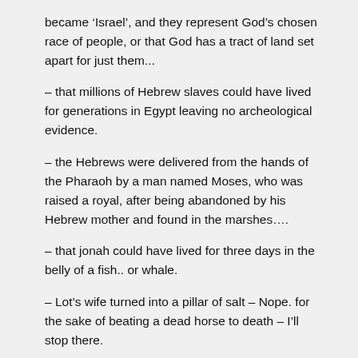became 'Israel', and they represent God's chosen race of people, or that God has a tract of land set apart for just them...
– that millions of Hebrew slaves could have lived for generations in Egypt leaving no archeological evidence.
– the Hebrews were delivered from the hands of the Pharaoh by a man named Moses, who was raised a royal, after being abandoned by his Hebrew mother and found in the marshes….
– that jonah could have lived for three days in the belly of a fish.. or whale.
– Lot's wife turned into a pillar of salt – Nope. for the sake of beating a dead horse to death – I'll stop there.
I believe the Bible is full of Myth and Allegory – there may be some actual historical facts here and there. To describe the bible as inerrant, is in my opinion naive and ignorant. To believe all of the stories are accurate records of historical events is